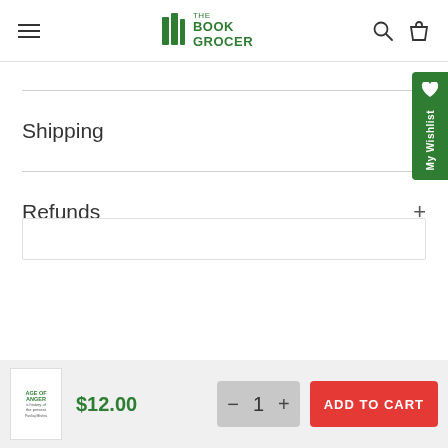The Book Grocer
Shipping
Refunds
$12.00  1  ADD TO CART